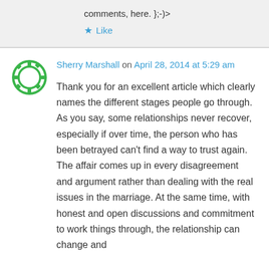comments, here. };-)>
★ Like
Sherry Marshall on April 28, 2014 at 5:29 am
Thank you for an excellent article which clearly names the different stages people go through. As you say, some relationships never recover, especially if over time, the person who has been betrayed can't find a way to trust again. The affair comes up in every disagreement and argument rather than dealing with the real issues in the marriage. At the same time, with honest and open discussions and commitment to work things through, the relationship can change and